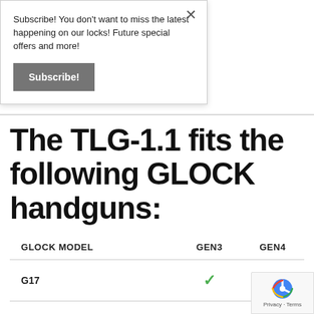Subscribe! You don't want to miss the latest happening on our locks! Future special offers and more!
Subscribe!
The TLG-1.1 fits the following GLOCK handguns:
| GLOCK MODEL | GEN3 | GEN4 |
| --- | --- | --- |
| G17 | ✓ | ✓ |
| G17 MOS SIGHTS | N/A | ✓ |